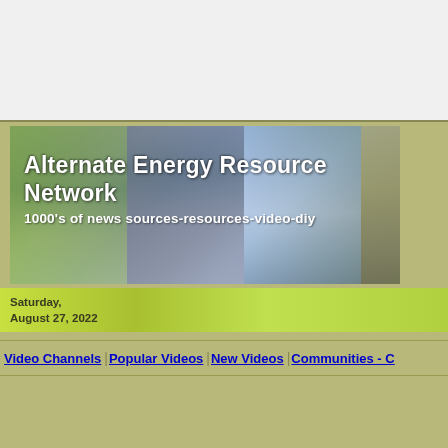[Figure (screenshot): Website banner for Alternate Energy Resource Network showing solar panels, industrial buildings, and wind turbines with text overlay]
Alternate Energy Resource Network
1000's of news sources-resources-video-diy
Saturday,
August 27, 2022
Video Channels
Popular Videos
New Videos
Communities - C
Headline Updates
News Channels
Energy Consumption